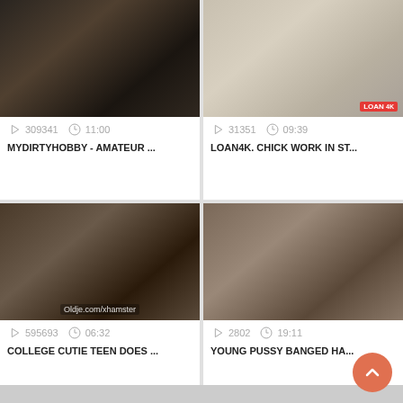[Figure (screenshot): Video thumbnail top-left: dark scene in a car]
309341  11:00
MYDIRTYHOBBY - AMATEUR ...
[Figure (screenshot): Video thumbnail top-right: blonde girl in white room, LOAN 4K watermark]
31351  09:39
LOAN4K. CHICK WORK IN ST...
[Figure (screenshot): Video thumbnail bottom-left: studio scene, Oldje.com/xhamster watermark]
595693  06:32
COLLEGE CUTIE TEEN DOES ...
[Figure (screenshot): Video thumbnail bottom-right: close-up scene with striped stockings]
2802  19:11
YOUNG PUSSY BANGED HA...